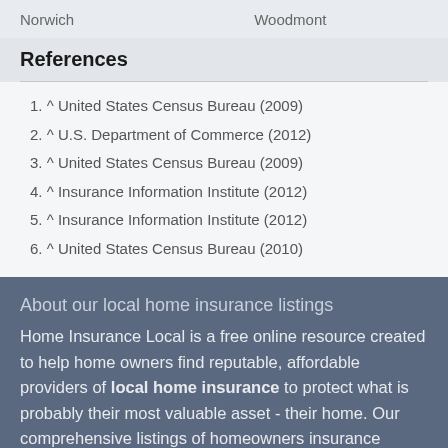Norwich    Woodmont
References
^ United States Census Bureau (2009)
^ U.S. Department of Commerce (2012)
^ United States Census Bureau (2009)
^ Insurance Information Institute (2012)
^ Insurance Information Institute (2012)
^ United States Census Bureau (2010)
About our local home insurance listings
Home Insurance Local is a free online resource created to help home owners find reputable, affordable providers of local home insurance to protect what is probably their most valuable asset - their home. Our comprehensive listings of homeowners insurance options are continually